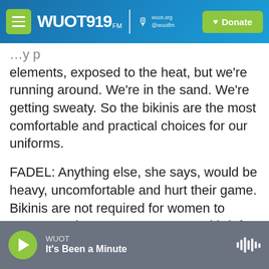WUOT 91.9 FM | wuot.org @wuotfm | Donate
elements, exposed to the heat, but we're running around. We're in the sand. We're getting sweaty. So the bikinis are the most comfortable and practical choices for our uniforms.
FADEL: Anything else, she says, would be heavy, uncomfortable and hurt their game. Bikinis are not required for women to compete. They can wear a top and brief or a one-piece. There are cultural and religious exceptions. Pavan says she wears T-shirts, leggings or long-sleeved shirts in the cold, but it's hot and humid in Tokyo.
WUOT | It's Been a Minute